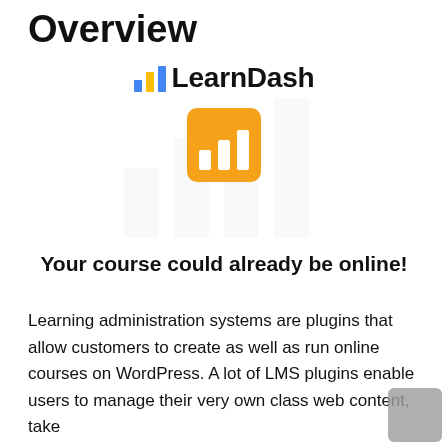Overview
[Figure (logo): LearnDash logo with bar chart icon in blue/orange and text 'LearnDash', plus orange square icon with white bar chart below]
Your course could already be online!
Learning administration systems are plugins that allow customers to create as well as run online courses on WordPress. A lot of LMS plugins enable users to manage their very own class web content, take